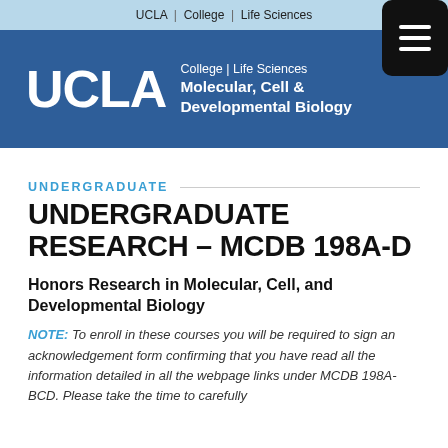UCLA | College | Life Sciences
[Figure (logo): UCLA College | Life Sciences - Molecular, Cell & Developmental Biology header logo with menu button]
UNDERGRADUATE
UNDERGRADUATE RESEARCH – MCDB 198A-D
Honors Research in Molecular, Cell, and Developmental Biology
NOTE:  To enroll in these courses you will be required to sign an acknowledgement form confirming that you have read all the information detailed in all the webpage links under MCDB 198A-BCD. Please take the time to carefully